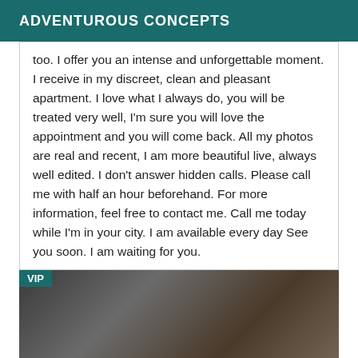ADVENTUROUS CONCEPTS
too. I offer you an intense and unforgettable moment. I receive in my discreet, clean and pleasant apartment. I love what I always do, you will be treated very well, I'm sure you will love the appointment and you will come back. All my photos are real and recent, I am more beautiful live, always well edited. I don't answer hidden calls. Please call me with half an hour beforehand. For more information, feel free to contact me. Call me today while I'm in your city. I am available every day See you soon. I am waiting for you.
[Figure (photo): A photograph with a VIP label in the top-left corner, showing a dimly lit scene with warm tones.]